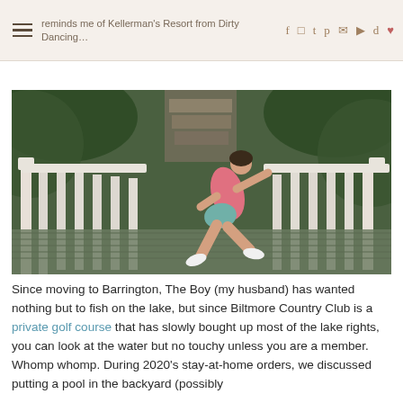reminds me of Kellerman's Resort from Dirty Dancing… [social icons: f, Instagram, Twitter, Pinterest, email, YouTube, TikTok, heart]
[Figure (photo): Woman in pink tank top and teal shorts posing on a white wooden bridge surrounded by green foliage and stone steps in background]
Since moving to Barrington, The Boy (my husband) has wanted nothing but to fish on the lake, but since Biltmore Country Club is a private golf course that has slowly bought up most of the lake rights, you can look at the water but no touchy unless you are a member. Whomp whomp. During 2020's stay-at-home orders, we discussed putting a pool in the backyard (possibly